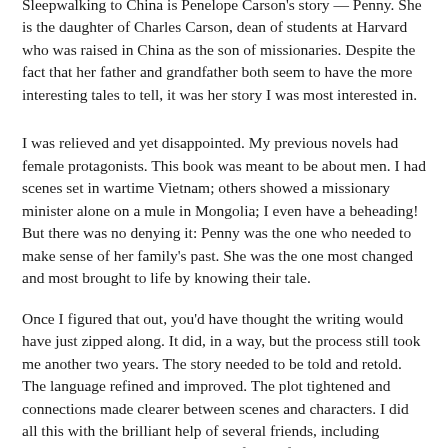Sleepwalking to China is Penelope Carson's story — Penny. She is the daughter of Charles Carson, dean of students at Harvard who was raised in China as the son of missionaries. Despite the fact that her father and grandfather both seem to have the more interesting tales to tell, it was her story I was most interested in.
I was relieved and yet disappointed. My previous novels had female protagonists. This book was meant to be about men. I had scenes set in wartime Vietnam; others showed a missionary minister alone on a mule in Mongolia; I even have a beheading! But there was no denying it: Penny was the one who needed to make sense of her family's past. She was the one most changed and most brought to life by knowing their tale.
Once I figured that out, you'd have thought the writing would have just zipped along. It did, in a way, but the process still took me another two years. The story needed to be told and retold. The language refined and improved. The plot tightened and connections made clearer between scenes and characters. I did all this with the brilliant help of several friends, including novelist Susann Cokal, who read a full draft